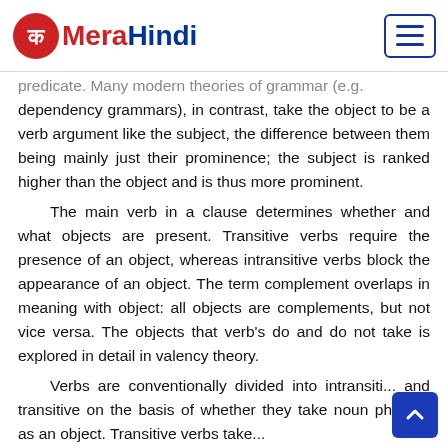MeraHindi
predicate. Many modern theories of grammar (e.g. dependency grammars), in contrast, take the object to be a verb argument like the subject, the difference between them being mainly just their prominence; the subject is ranked higher than the object and is thus more prominent.
The main verb in a clause determines whether and what objects are present. Transitive verbs require the presence of an object, whereas intransitive verbs block the appearance of an object. The term complement overlaps in meaning with object: all objects are complements, but not vice versa. The objects that verb's do and do not take is explored in detail in valency theory.
Verbs are conventionally divided into intransiti... and transitive on the basis of whether they take noun phrases as an object. Transitive verbs take...